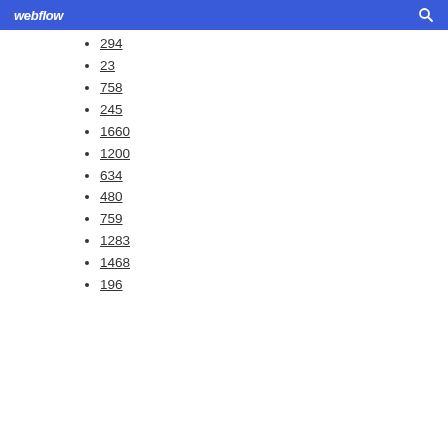webflow [search icon]
294
23
758
245
1660
1200
634
480
759
1283
1468
196